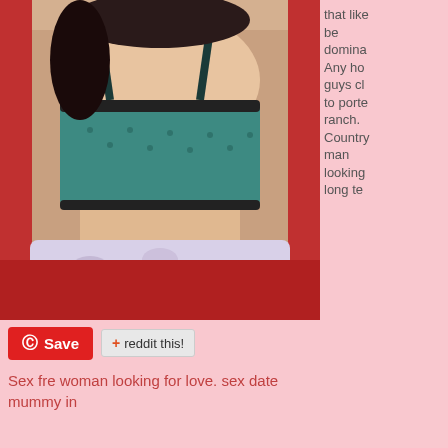[Figure (photo): A woman wearing a teal/turquoise crop top bra sitting in front of a red surface with a floral pillow, photo cropped to show torso]
that like be domina Any ho guys cl to porte ranch. Country man looking long te
Save   + reddit this!
Sex fre woman looking for love. sex date mummy in